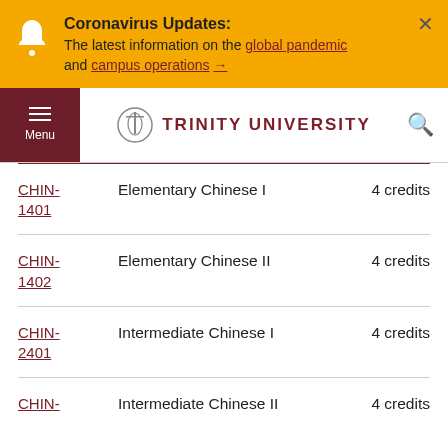Coronavirus Updates: The latest information on the global pandemic and campus operations →
[Figure (screenshot): Trinity University navigation bar with menu button, logo, and search icon]
| Course Code | Course Name | Credits |
| --- | --- | --- |
| CHIN-1401 | Elementary Chinese I | 4 credits |
| CHIN-1402 | Elementary Chinese II | 4 credits |
| CHIN-2401 | Intermediate Chinese I | 4 credits |
| CHIN- | Intermediate Chinese II | 4 credits |